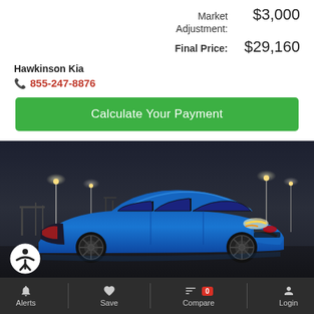Market Adjustment: $3,000
Final Price: $29,160
Hawkinson Kia
855-247-8876
Calculate Your Payment
[Figure (photo): A blue Kia K5 sedan photographed at night in a parking area with lights in the background]
Alerts  Save  Compare 0  Login